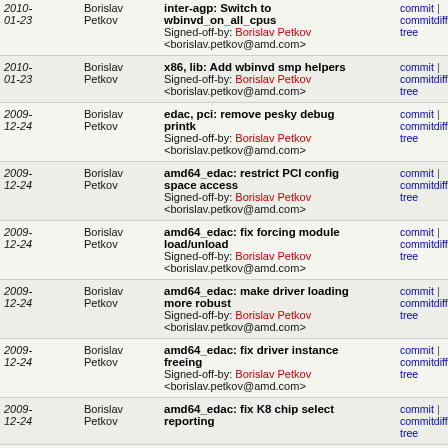| Date | Author | Commit message | Links |
| --- | --- | --- | --- |
| 2010-01-23 | Borislav Petkov | inter-agp: Switch to wbinvd_on_all_cpus
Signed-off-by: Borislav Petkov <borislav.petkov@amd.com> | commit | commitdiff | tree |
| 2010-01-23 | Borislav Petkov | x86, lib: Add wbinvd smp helpers
Signed-off-by: Borislav Petkov <borislav.petkov@amd.com> | commit | commitdiff | tree |
| 2009-12-24 | Borislav Petkov | edac, pci: remove pesky debug printk
Signed-off-by: Borislav Petkov <borislav.petkov@amd.com> | commit | commitdiff | tree |
| 2009-12-24 | Borislav Petkov | amd64_edac: restrict PCI config space access
Signed-off-by: Borislav Petkov <borislav.petkov@amd.com> | commit | commitdiff | tree |
| 2009-12-24 | Borislav Petkov | amd64_edac: fix forcing module load/unload
Signed-off-by: Borislav Petkov <borislav.petkov@amd.com> | commit | commitdiff | tree |
| 2009-12-24 | Borislav Petkov | amd64_edac: make driver loading more robust
Signed-off-by: Borislav Petkov <borislav.petkov@amd.com> | commit | commitdiff | tree |
| 2009-12-24 | Borislav Petkov | amd64_edac: fix driver instance freeing
Signed-off-by: Borislav Petkov <borislav.petkov@amd.com> | commit | commitdiff | tree |
| 2009-12-24 | Borislav Petkov | amd64_edac: fix K8 chip select reporting | commit | commitdiff | tree |